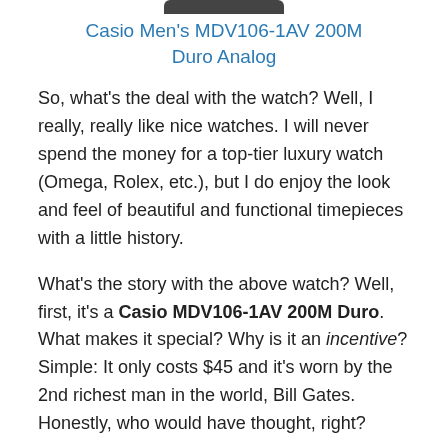[Figure (other): Partial image of a Casio watch, showing only the bottom portion of the watch face/strap]
Casio Men’s MDV106-1AV 200M Duro Analog
So, what’s the deal with the watch? Well, I really, really like nice watches. I will never spend the money for a top-tier luxury watch (Omega, Rolex, etc.), but I do enjoy the look and feel of beautiful and functional timepieces with a little history.
What’s the story with the above watch? Well, first, it’s a Casio MDV106-1AV 200M Duro. What makes it special? Why is it an incentive? Simple: It only costs $45 and it’s worn by the 2nd richest man in the world, Bill Gates. Honestly, who would have thought, right?
Below are four other tangible incentives (TI’s).